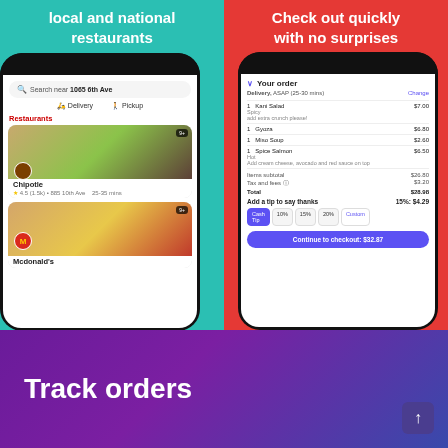[Figure (screenshot): Mobile app screenshot showing food delivery app with restaurant listings including Chipotle and McDonald's on a teal background, with text 'local and national restaurants']
[Figure (screenshot): Mobile app screenshot showing order checkout screen on red background with text 'Check out quickly with no surprises', showing order items, subtotals, tip options, and a checkout button]
Track orders
[Figure (screenshot): Purple gradient background showing the beginning of a 'Track orders' promotional screen]